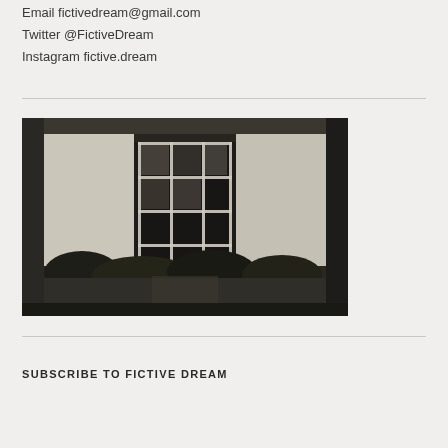Email fictivedream@gmail.com
Twitter @FictiveDream
Instagram fictive.dream
[Figure (photo): Black and white photograph of a modernist building facade with a large multi-paned grid window, concrete walls, and dense shrubs in the foreground]
SUBSCRIBE TO FICTIVE DREAM